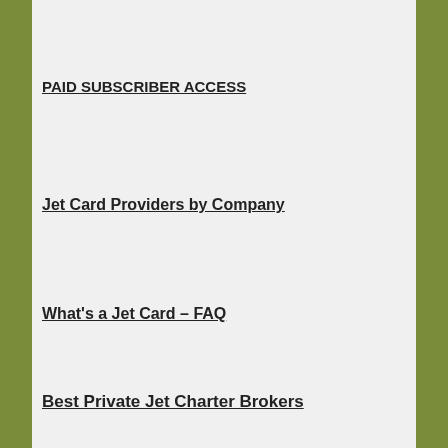PAID SUBSCRIBER ACCESS
Jet Card Providers by Company
What's a Jet Card – FAQ
Best Private Jet Charter Brokers
Popular Stories
[Figure (photo): Interior of a private jet hangar with aircraft]
Is NetJets worth the price?
[Figure (photo): Private jet on airport tarmac with blue sky]
Wheels Up revises price and program rules effective June 1